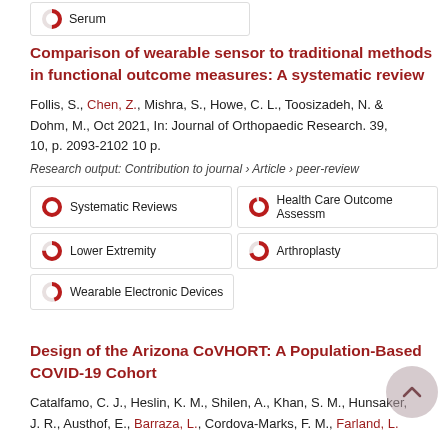Serum
Comparison of wearable sensor to traditional methods in functional outcome measures: A systematic review
Follis, S., Chen, Z., Mishra, S., Howe, C. L., Toosizadeh, N. & Dohm, M., Oct 2021, In: Journal of Orthopaedic Research. 39, 10, p. 2093-2102 10 p.
Research output: Contribution to journal › Article › peer-review
Systematic Reviews
Health Care Outcome Assessm
Lower Extremity
Arthroplasty
Wearable Electronic Devices
Design of the Arizona CoVHORT: A Population-Based COVID-19 Cohort
Catalfamo, C. J., Heslin, K. M., Shilen, A., Khan, S. M., Hunsaker, J. R., Austhof, E., Barraza, L., Cordova-Marks, F. M., Farland, L.